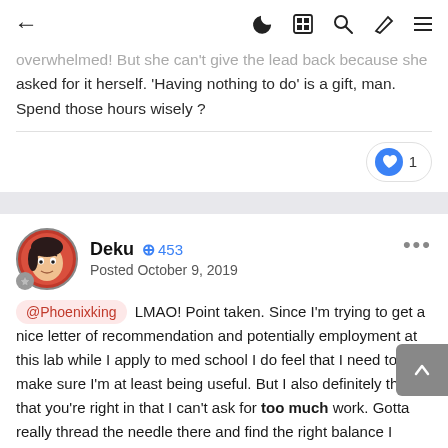← (back) | (dark mode) (article) (search) (brush) (menu)
overwhelmed! But she can't give the lead back because she asked for it herself. 'Having nothing to do' is a gift, man. Spend those hours wisely ?
👍 1
Deku +453 Posted October 9, 2019
@Phoenixking LMAO! Point taken. Since I'm trying to get a nice letter of recommendation and potentially employment at this lab while I apply to med school I do feel that I need to make sure I'm at least being useful. But I also definitely think that you're right in that I can't ask for too much work. Gotta really thread the needle there and find the right balance I guess.

Day 7 was a pretty good day at work. I spent my four hours